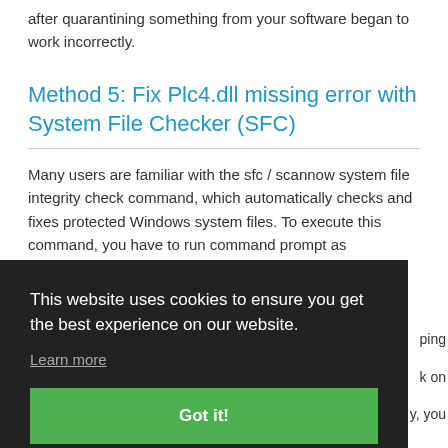after quarantining something from your software began to work incorrectly.
Method 5: Fix Plc4.dll missing error with System File Checker (SFC)
Many users are familiar with the sfc / scannow system file integrity check command, which automatically checks and fixes protected Windows system files. To execute this command, you have to run command prompt as
This website uses cookies to ensure you get the best experience on our website.
Learn more
Got it!
Step 2. Type sfc / scannow while in Command Prompt and hit Enter.